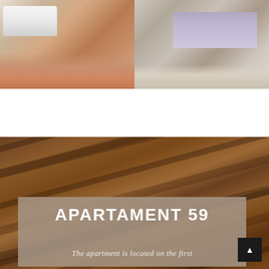[Figure (photo): Two side-by-side interior apartment photos: left shows a bathroom with white sink vanity, terracotta tile floor, toilet and shower curtain in background; right shows a bedroom with a grey-covered bed, patterned rug on tile floor]
[Figure (photo): Large photo of a rustic wooden ceiling with exposed dark wood beams and planks at an angle, warm brown tones]
APARTAMENT 59
The apartment is located on the first